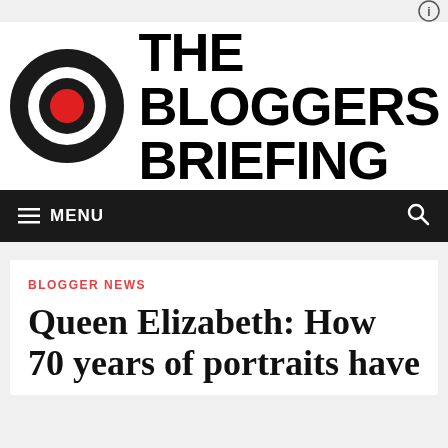[Figure (logo): The Bloggers Briefing logo: a target/bullseye icon (black outer ring, red center circle) next to bold black uppercase text reading THE BLOGGERS BRIEFING]
≡ MENU
BLOGGER NEWS
Queen Elizabeth: How 70 years of portraits have